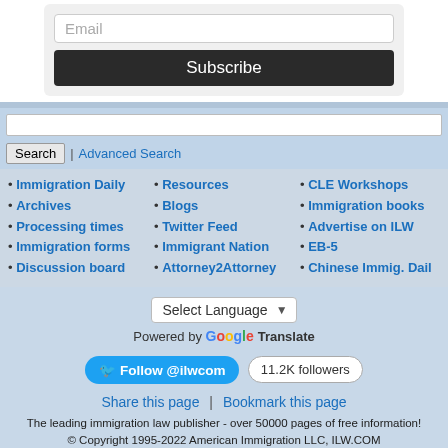Email
Subscribe
Immigration Daily
Archives
Processing times
Immigration forms
Discussion board
Resources
Blogs
Twitter Feed
Immigrant Nation
Attorney2Attorney
CLE Workshops
Immigration books
Advertise on ILW
EB-5
Chinese Immig. Dail
Select Language
Powered by Google Translate
Follow @ilwcom | 11.2K followers
Share this page | Bookmark this page
The leading immigration law publisher - over 50000 pages of free information!
© Copyright 1995-2022 American Immigration LLC, ILW.COM